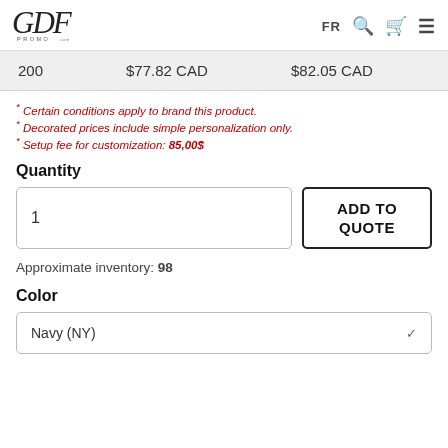GDF PROMO .com | FR [search] [cart] [menu]
| Qty | Price 1 | Price 2 |
| --- | --- | --- |
| 200 | $77.82 CAD | $82.05 CAD |
* Certain conditions apply to brand this product.
* Decorated prices include simple personalization only.
* Setup fee for customization: 85,00$
Quantity
1 [input box]
ADD TO QUOTE
Approximate inventory: 98
Color
Navy (NY)